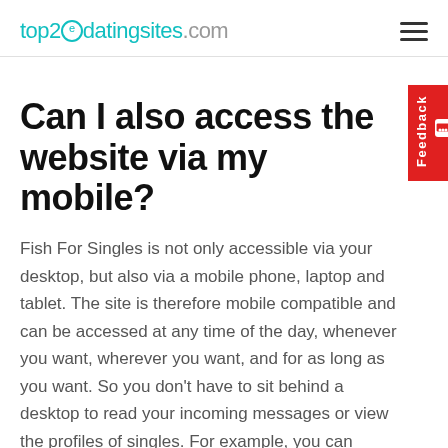top2edatingsites.com
Can I also access the website via my mobile?
Fish For Singles is not only accessible via your desktop, but also via a mobile phone, laptop and tablet. The site is therefore mobile compatible and can be accessed at any time of the day, whenever you want, wherever you want, and for as long as you want. So you don't have to sit behind a desktop to read your incoming messages or view the profiles of singles. For example, you can browse the profiles of users, contact interesting matches, and reply to your messages at any time of the day via your